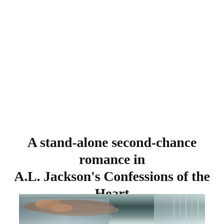A stand-alone second-chance romance in A.L. Jackson's Confessions of the Heart Series… Coming April 22nd
[Figure (photo): Close-up photo of intertwined hands resting on a bed or cushion, with soft natural lighting suggesting an intimate romantic scene. Text overlay reads 'A Confessions of the Heart' in spaced lettering.]